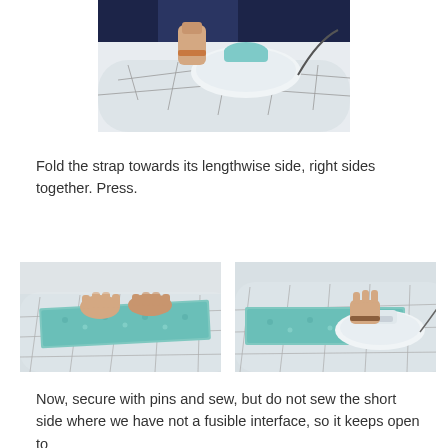[Figure (photo): Person holding an iron over a fabric piece on an ironing board with a geometric pattern]
Fold the strap towards its lengthwise side, right sides together. Press.
[Figure (photo): Hands folding a teal/green patterned fabric strap on an ironing board]
[Figure (photo): Person ironing/pressing a folded teal fabric strap on an ironing board]
Now, secure with pins and sew, but do not sew the short side where we have not a fusible interface, so it keeps open to